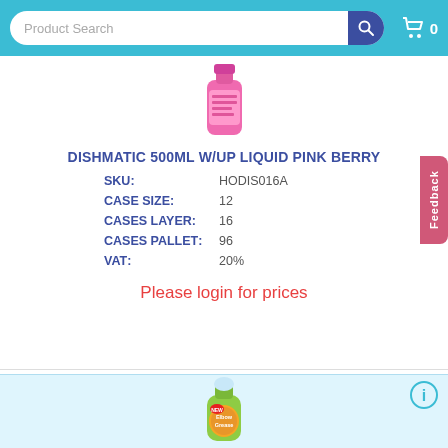Product Search  🔍  🛒 0
[Figure (photo): Dishmatic 500ml washing up liquid pink berry product bottle]
DISHMATIC 500ML W/UP LIQUID PINK BERRY
SKU: HODIS016A
CASE SIZE: 12
CASES LAYER: 16
CASES PALLET: 96
VAT: 20%
Please login for prices
[Figure (photo): Elbow Grease washing up liquid green bottle]